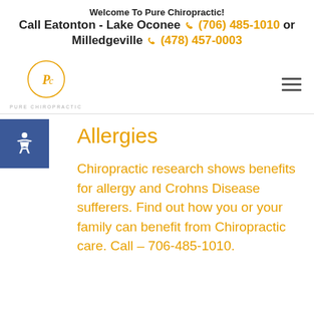Welcome To Pure Chiropractic! Call Eatonton - Lake Oconee (706) 485-1010 or Milledgeville (478) 457-0003
[Figure (logo): Pure Chiropractic circular logo with stylized P and C letters and text PURE CHIROPRACTIC below]
Allergies
Chiropractic research shows benefits for allergy and Crohns Disease sufferers. Find out how you or your family can benefit from Chiropractic care. Call – 706-485-1010.